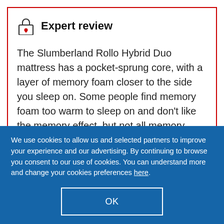Expert review
The Slumberland Rollo Hybrid Duo mattress has a pocket-sprung core, with a layer of memory foam closer to the side you sleep on. Some people find memory foam too warm to sleep on and don't like the memory effect, but not all memory foam mattresses are equal.
We use cookies to allow us and selected partners to improve your experience and our advertising. By continuing to browse you consent to our use of cookies. You can understand more and change your cookies preferences here.
OK